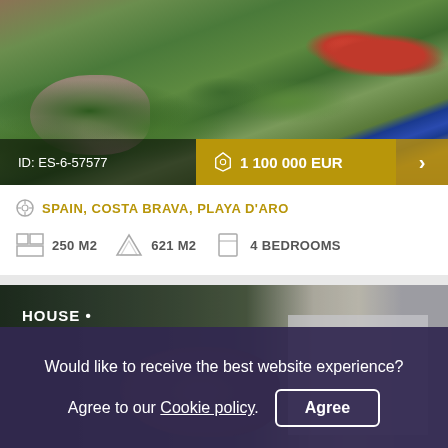[Figure (photo): Exterior photo of a villa in Costa Brava with lush greenery, rocky landscaping, red flowers, and a blue building visible in the background.]
ID: ES-6-57577
1 100 000 EUR
SPAIN, COSTA BRAVA, PLAYA D'ARO
250 M2
621 M2
4 BEDROOMS
[Figure (photo): Exterior photo of a house listing with dark background, rocky landscaping and a white structure visible on the right.]
HOUSE •
Would like to receive the best website experience? Agree to our Cookie policy. Agree